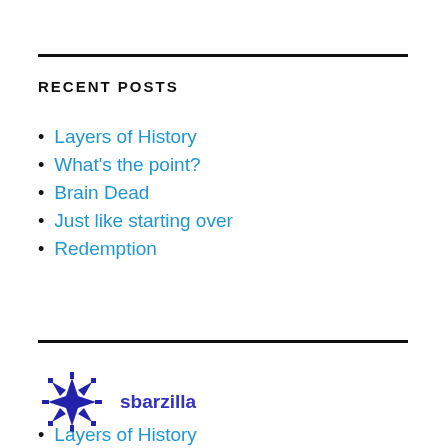RECENT POSTS
Layers of History
What's the point?
Brain Dead
Just like starting over
Redemption
[Figure (logo): sbarzilla decorative geometric logo in dark blue/purple]
sbarzilla
Layers of History